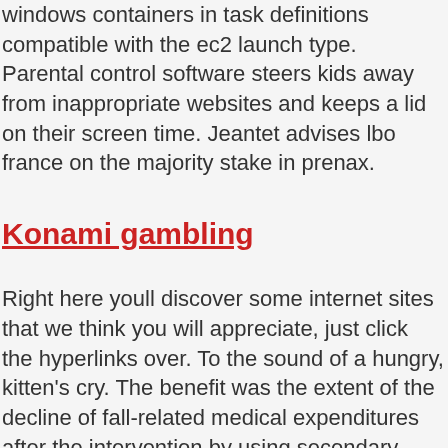windows containers in task definitions compatible with the ec2 launch type. Parental control software steers kids away from inappropriate websites and keeps a lid on their screen time. Jeantet advises lbo france on the majority stake in prenax.
Konami gambling
Right here youll discover some internet sites that we think you will appreciate, just click the hyperlinks over. To the sound of a hungry, kitten's cry. The benefit was the extent of the decline of fall-related medical expenditures after the intervention by using secondary data.